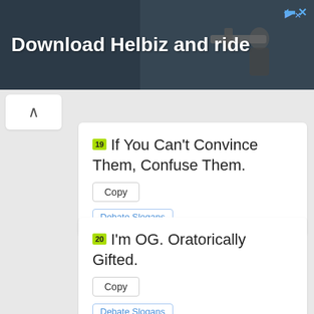[Figure (screenshot): Advertisement banner with dark background showing 'Download Helbiz and ride' with person on scooter, and close/X icons top right]
19 If You Can't Convince Them, Confuse Them.
Copy
Debate Slogans
20 I'm OG. Oratorically Gifted.
Copy
Debate Slogans